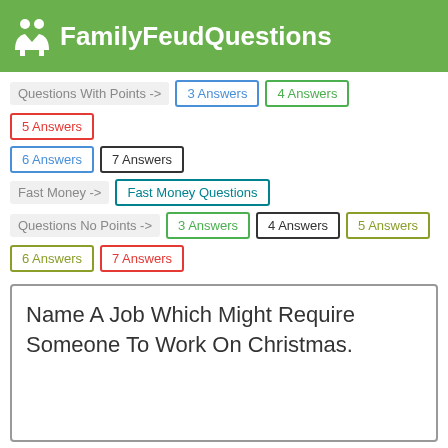FamilyFeudQuestions
Questions With Points -> | 3 Answers | 4 Answers | 5 Answers | 6 Answers | 7 Answers
Fast Money -> | Fast Money Questions
Questions No Points -> | 3 Answers | 4 Answers | 5 Answers | 6 Answers | 7 Answers
Name A Job Which Might Require Someone To Work On Christmas.